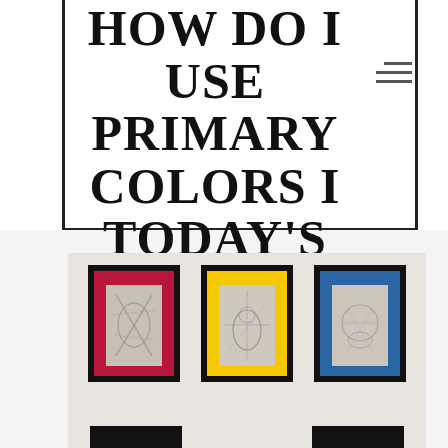HOW DO I USE PRIMARY COLORS I TODAY'S DESIGNS?
PAIRED WITH A BOLD   BLACK + WHITE
[Figure (photo): Three framed artworks on a light gray wall: left frame has a crimson/red mat, center frame has a yellow mat, right frame has a blue mat, each containing a black and white sketch/photograph. Partial bottom row of frames visible at the bottom.]